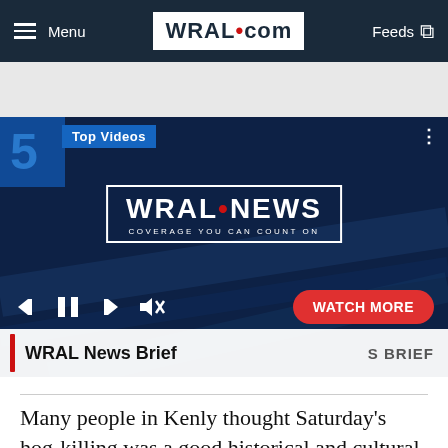Menu | WRAL.com | Feeds
[Figure (screenshot): WRAL News video player showing 'Top Videos' label, WRAL NEWS 'Coverage You Can Count On' logo, playback controls (skip back, pause, skip forward, mute), a red 'WATCH MORE' button, and a 'WRAL News Brief' title bar at the bottom]
Many people in Kenly thought Saturday's hog-killing was a good historical and cultural